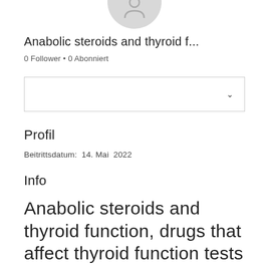[Figure (illustration): Circular avatar/profile picture placeholder with grey background, partially cropped at top]
Anabolic steroids and thyroid f...
0 Follower • 0 Abonniert
[Figure (screenshot): Dropdown/select box UI element with chevron arrow on right side]
Profil
Beitrittsdatum:  14. Mai  2022
Info
Anabolic steroids and thyroid function, drugs that affect thyroid function tests